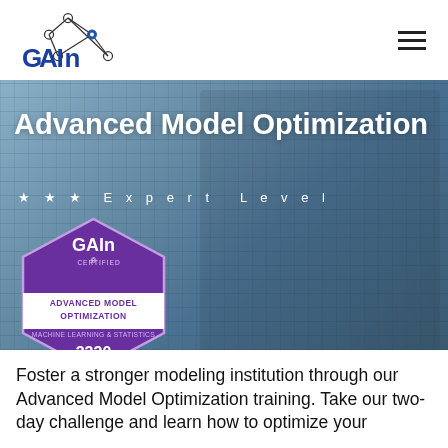[Figure (logo): GAIn logo with network graph icon and text]
[Figure (photo): Hero background: hands typing on laptop keyboard with blue overlay]
Advanced Model Optimization
★ ★ ★  Expert Level
[Figure (illustration): GAIn Certified hexagonal badge: ADVANCED MODEL OPTIMIZATION, MACHINE LEARNING & STATISTICS, 3330]
Foster a stronger modeling institution through our Advanced Model Optimization training. Take our two-day challenge and learn how to optimize your